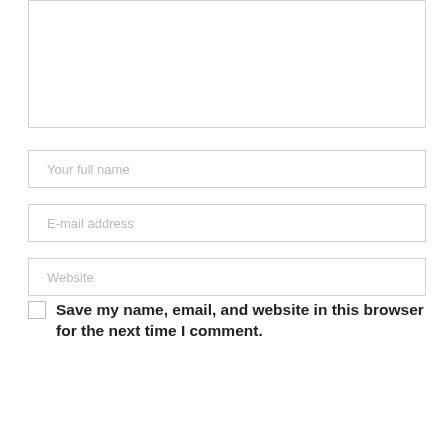[Figure (screenshot): Web comment form with a textarea (top, partially cut off), three input fields labeled 'Your full name', 'E-mail address', 'Website', a checkbox with bold label 'Save my name, email, and website in this browser for the next time I comment.', and a gray SUBMIT button.]
Your full name
E-mail address
Website
Save my name, email, and website in this browser for the next time I comment.
SUBMIT